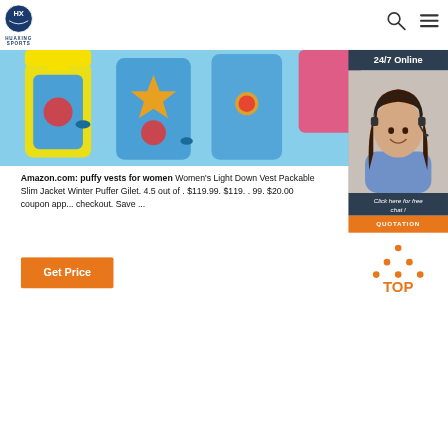[Figure (logo): Huaxing Sports logo - circular badge with blue and white design, text HUAXING SPORTS below]
[Figure (illustration): Colorful children's swim vests/life jackets with cartoon sea creatures (starfish, fish, crabs) on blue background]
[Figure (photo): 24/7 Online customer service agent - woman with headset smiling, dark background overlay with chat and quotation button]
Amazon.com: puffy vests for women Women's Light Down Vest Packable Slim Jacket Winter Puffer Gilet. 4.5 out of . $119.99. $119. . 99. $20.00 coupon app... checkout. Save ...
[Figure (other): Orange Get Price button]
[Figure (other): TOP navigation button - orange dots arranged in triangle above orange TOP text]